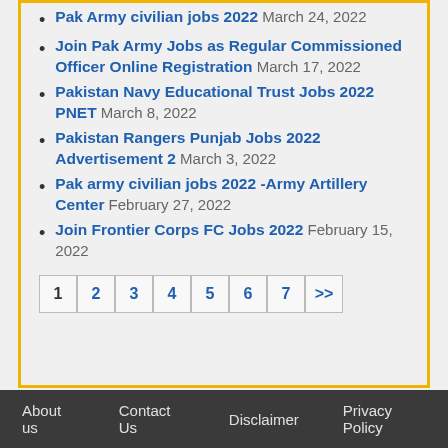Pak Army civilian jobs 2022 March 24, 2022
Join Pak Army Jobs as Regular Commissioned Officer Online Registration March 17, 2022
Pakistan Navy Educational Trust Jobs 2022 PNET March 8, 2022
Pakistan Rangers Punjab Jobs 2022 Advertisement 2 March 3, 2022
Pak army civilian jobs 2022 -Army Artillery Center February 27, 2022
Join Frontier Corps FC Jobs 2022 February 15, 2022
1 2 3 4 5 6 7 >>
About us  Contact Us  Disclaimer  Privacy Policy